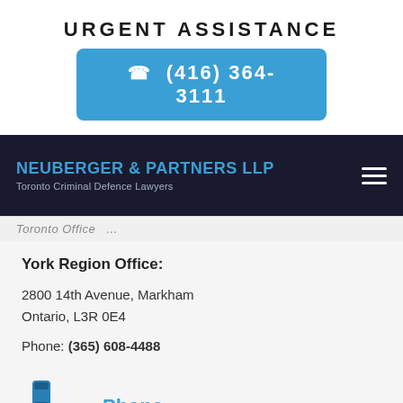URGENT ASSISTANCE
(416) 364-3111
[Figure (logo): Neuberger & Partners LLP Toronto Criminal Defence Lawyers logo with hamburger menu icon on dark background]
Toronto Office [partial, cropped]
York Region Office:
2800 14th Avenue, Markham Ontario, L3R 0E4
Phone: (365) 608-4488
[Figure (illustration): Blue fax/phone machine icon]
Phone